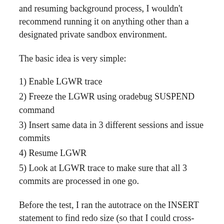and resuming background process, I wouldn't recommend running it on anything other than a designated private sandbox environment.
The basic idea is very simple:
1) Enable LGWR trace
2) Freeze the LGWR using oradebug SUSPEND command
3) Insert same data in 3 different sessions and issue commits
4) Resume LGWR
5) Look at LGWR trace to make sure that all 3 commits are processed in one go.
Before the test, I ran the autotrace on the INSERT statement to find redo size (so that I could cross-check